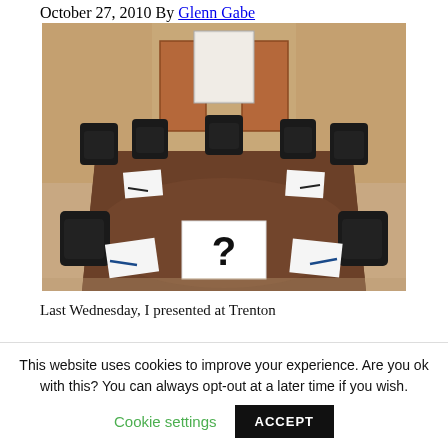October 27, 2010 By Glenn Gabe
[Figure (photo): Conference room with a large dark wooden table, black leather chairs, a projection screen at the far end, and a white sheet of paper with a question mark on the near end of the table.]
Last Wednesday, I presented at Trenton
This website uses cookies to improve your experience. Are you ok with this? You can always opt-out at a later time if you wish. Cookie settings ACCEPT